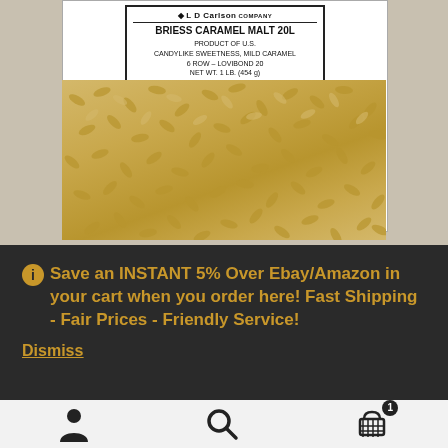[Figure (photo): Product photo of Briess Caramel Malt 20L packaged grain bag by LD Carlson Company, showing golden grain seeds and a label reading: BRIESS CARAMEL MALT 20L, PRODUCT OF U.S., CANDYLIKE SWEETNESS, MILD CARAMEL, 6 ROW - LOVIBOND 20, NET WT. 1 LB. (454 g), Packaged by L.D. Carlson, Kent, Ohio 44240]
Save an INSTANT 5% Over Ebay/Amazon in your cart when you order here! Fast Shipping - Fair Prices - Friendly Service!
Dismiss